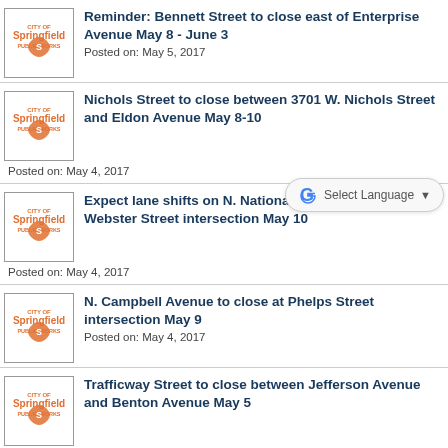[Figure (logo): City of Springfield Public Works logo]
Reminder: Bennett Street to close east of Enterprise Avenue May 8 - June 3
Posted on: May 5, 2017
[Figure (logo): City of Springfield Public Works logo]
Nichols Street to close between 3701 W. Nichols Street and Eldon Avenue May 8-10
Posted on: May 4, 2017
[Figure (screenshot): Google Translate Select Language widget]
[Figure (logo): City of Springfield Public Works logo]
Expect lane shifts on N. National Avenue near the Webster Street intersection May 10
Posted on: May 4, 2017
[Figure (logo): City of Springfield Public Works logo]
N. Campbell Avenue to close at Phelps Street intersection May 9
Posted on: May 4, 2017
[Figure (logo): City of Springfield Public Works logo]
Trafficway Street to close between Jefferson Avenue and Benton Avenue May 5